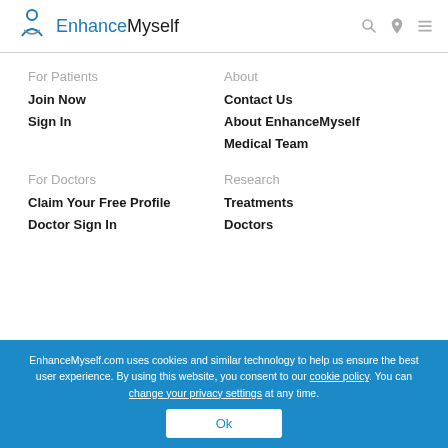EnhanceMyself
For Patients
Join Now
Sign In
About
Contact Us
About EnhanceMyself
Medical Team
For Doctors
Claim Your Free Profile
Doctor Sign In
Research
Treatments
Doctors
EnhanceMyself.com uses cookies and similar technology to help us ensure the best user experience. By using this website, you consent to our cookie policy. You can change your privacy settings at any time.
Ok